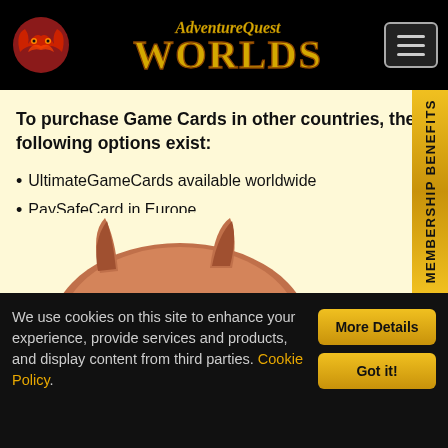[Figure (logo): AdventureQuest Worlds logo with dragon mascot and golden stylized text, on black header bar]
To purchase Game Cards in other countries, the following options exist:
UltimateGameCards available worldwide
PaySafeCard in Europe
CherryCredits in Singapore, Thailand, Philippines, and Australia
Other PlaySpan cash methods available worldwide
[Figure (illustration): Partial view of a fantasy character (dragon/monster) peeking up from the bottom of the content area]
We use cookies on this site to enhance your experience, provide services and products, and display content from third parties. Cookie Policy.